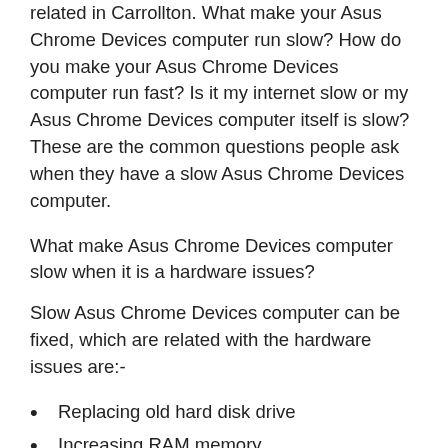related in Carrollton. What make your Asus Chrome Devices computer run slow? How do you make your Asus Chrome Devices computer run fast? Is it my internet slow or my Asus Chrome Devices computer itself is slow? These are the common questions people ask when they have a slow Asus Chrome Devices computer.
What make Asus Chrome Devices computer slow when it is a hardware issues?
Slow Asus Chrome Devices computer can be fixed, which are related with the hardware issues are:-
Replacing old hard disk drive
Increasing RAM memory
Upgrading Processor
Replacing New Motherboard if it is old desktop